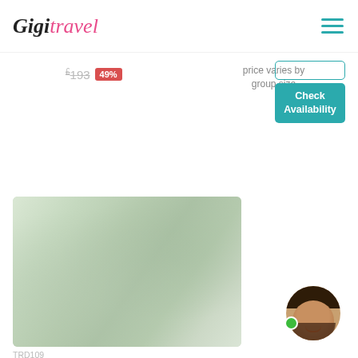Gigit travel [logo] with hamburger menu
£193 49%
price varies by group size
Check Availability
[Figure (photo): Outdoor scene with greenery and buildings, blurred/faded appearance]
[Figure (photo): Circular avatar photo of a man with beard smiling, with green online indicator dot]
TRD109
Travel Hierapolis And Pamukkale From Marmaris